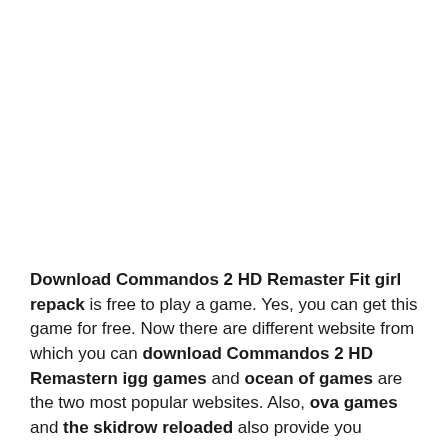Download Commandos 2 HD Remaster Fit girl repack is free to play a game. Yes, you can get this game for free. Now there are different website from which you can download Commandos 2 HD Remastern igg games and ocean of games are the two most popular websites. Also, ova games and the skidrow reloaded also provide you